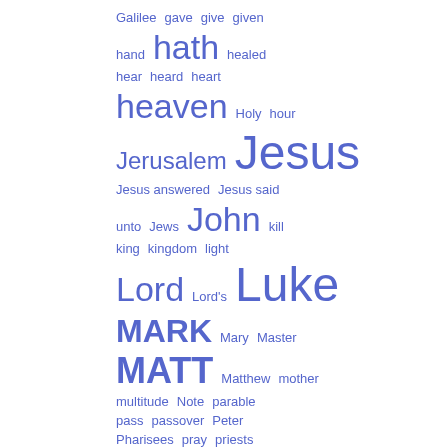[Figure (infographic): Word cloud of biblical terms and proper nouns in blue, varying font sizes indicating frequency. Words include: Galilee, gave, give, given, hand, hath, healed, hear, heard, heart, heaven, Holy, hour, Jerusalem, Jesus, Jesus answered, Jesus said, unto, Jews, John, kill, king, kingdom, light, Lord, Lord's, Luke, MARK, Mary, Master, MATT, Matthew, mother, multitude, Note, parable, pass, passover, Peter, Pharisees, pray, priests, probably, prophet, receive, rise, sabbath, saith unto, say unto, scribes, seen]